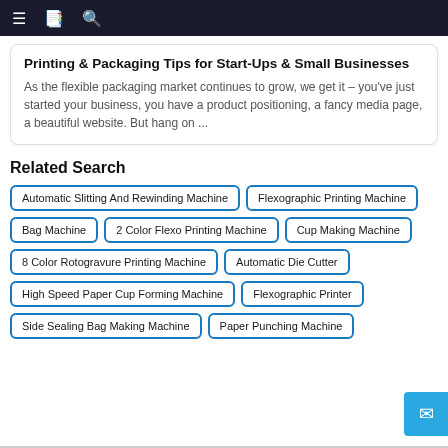≡  📋  🔍
Printing & Packaging Tips for Start-Ups & Small Businesses
As the flexible packaging market continues to grow, we get it – you've just started your business, you have a product positioning, a fancy media page, a beautiful website. But hang on ...
Related Search
Automatic Slitting And Rewinding Machine
Flexographic Printing Machine
Bag Machine
2 Color Flexo Printing Machine
Cup Making Machine
8 Color Rotogravure Printing Machine
Automatic Die Cutter
High Speed Paper Cup Forming Machine
Flexographic Printer
Side Sealing Bag Making Machine
Paper Punching Machine